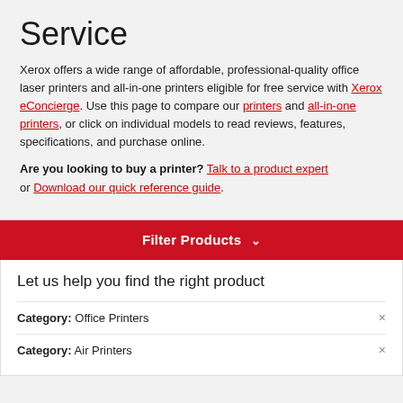Service
Xerox offers a wide range of affordable, professional-quality office laser printers and all-in-one printers eligible for free service with Xerox eConcierge. Use this page to compare our printers and all-in-one printers, or click on individual models to read reviews, features, specifications, and purchase online.
Are you looking to buy a printer? Talk to a product expert or Download our quick reference guide.
Filter Products
Let us help you find the right product
Category: Office Printers
Category: Air Printers